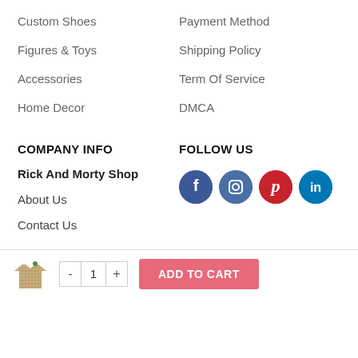Custom Shoes
Figures & Toys
Accessories
Home Decor
Payment Method
Shipping Policy
Term Of Service
DMCA
COMPANY INFO
FOLLOW US
Rick And Morty Shop
About Us
Contact Us
[Figure (infographic): Social media icons: Facebook (dark blue), Instagram (medium blue), Pinterest (red), LinkedIn (blue)]
© 2022 Rick And Morty Shop. All Rights Reserved.
[Figure (screenshot): Add to cart bar with product image, quantity controls (-, 1, +), and ADD TO CART button]